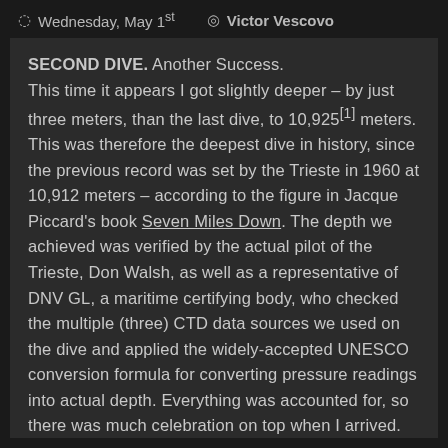Wednesday, May 1st   Victor Vescovo
SECOND DIVE. Another Success. This time it appears I got slightly deeper – by just three meters, than the last dive, to 10,925[1] meters. This was therefore the deepest dive in history, since the previous record was set by the Trieste in 1960 at 10,912 meters – according to the figure in Jacque Piccard's book Seven Miles Down. The depth we achieved was verified by the actual pilot of the Trieste, Don Walsh, as well as a representative of DNV GL, a maritime certifying body, who checked the multiple (three) CTD data sources we used on the dive and applied the widely-accepted UNESCO conversion formula for converting pressure readings into actual depth. Everything was accounted for, so there was much celebration on top when I arrived. But there was an unfortunate caveat to the success … I was able to solo pilot the Limiting Factor to the bottom of the Challenger Deep for a second time, but it appears